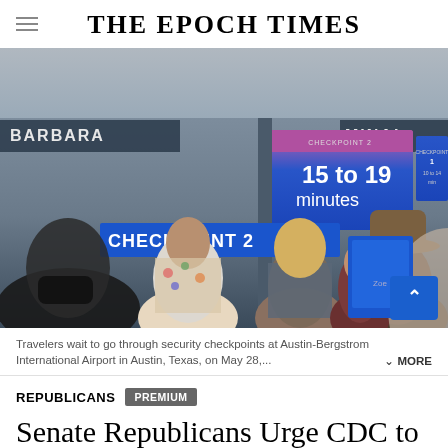THE EPOCH TIMES
[Figure (photo): Travelers waiting in line to go through security checkpoint at an airport. A large blue sign reads 'CHECKPOINT 2'. A blue digital display screen shows '15 to 19 minutes' for Checkpoint 2. People are seen from behind wearing masks and casual clothing. A man in a cowboy hat is visible on the right. A blue scroll-up button with a chevron icon appears in the bottom right corner.]
Travelers wait to go through security checkpoints at Austin-Bergstrom International Airport in Austin, Texas, on May 28,... MORE
REPUBLICANS  PREMIUM
Senate Republicans Urge CDC to End